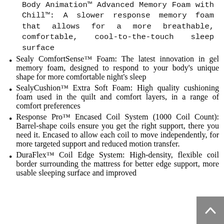Body Animation™ Advanced Memory Foam with Chill™: A slower response memory foam that allows for a more breathable, comfortable, cool-to-the-touch sleep surface
Sealy ComfortSense™ Foam: The latest innovation in gel memory foam, designed to respond to your body's unique shape for more comfortable night's sleep
SealyCushion™ Extra Soft Foam: High quality cushioning foam used in the quilt and comfort layers, in a range of comfort preferences
Response Pro™ Encased Coil System (1000 Coil Count): Barrel-shape coils ensure you get the right support, there you need it. Encased to allow each coil to move independently, for more targeted support and reduced motion transfer.
DuraFlex™ Coil Edge System: High-density, flexible coil border surrounding the mattress for better edge support, more usable sleeping surface and improved